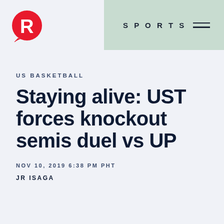SPORTS
[Figure (logo): Rappler red circle logo with R letter]
US BASKETBALL
Staying alive: UST forces knockout semis duel vs UP
NOV 10, 2019 6:38 PM PHT
JR ISAGA